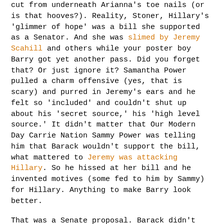cut from underneath Arianna's toe nails (or is that hooves?). Reality, Stoner, Hillary's 'glimmer of hope' was a bill she supported as a Senator. And she was slimed by Jeremy Scahill and others while your poster boy Barry got yet another pass. Did you forget that? Or just ignore it? Samantha Power pulled a charm offensive (yes, that is scary) and purred in Jeremy's ears and he felt so 'included' and couldn't shut up about his 'secret source,' his 'high level source.' It didn't matter that Our Modern Day Carrie Nation Sammy Power was telling him that Barack wouldn't support the bill, what mattered to Jeremy was attacking Hillary. So he hissed at her bill and he invented motives (some fed to him by Sammy) for Hillary. Anything to make Barry look better.
That was a Senate proposal. Barack didn't get on board. It died. Barack is the president. Hillary is the Secretary of State. The Secretary of State does not make policy -- she or he implements it. Is that too complex for you, Stoner? Translation, Barack didn't support Hillary's bill during the Democratic Party